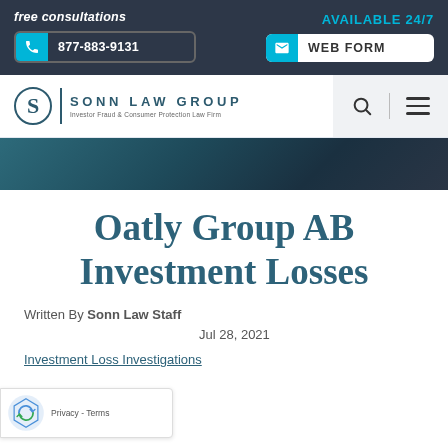free consultations | 877-883-9131 | AVAILABLE 24/7 | WEB FORM
[Figure (logo): Sonn Law Group logo — stylized S in circle, vertical divider, SONN LAW GROUP text, subtitle: Investor Fraud & Consumer Protection Law Firm]
Oatly Group AB Investment Losses
Written By Sonn Law Staff
Jul 28, 2021
Investment Loss Investigations